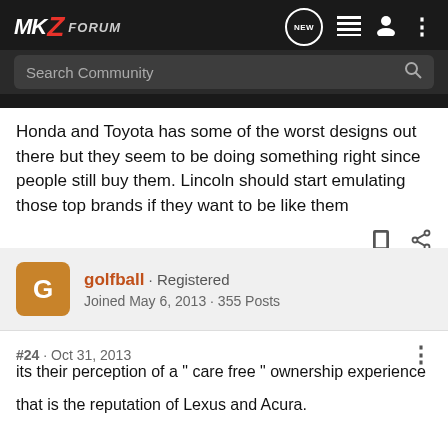MKZ FORUM
Honda and Toyota has some of the worst designs out there but they seem to be doing something right since people still buy them. Lincoln should start emulating those top brands if they want to be like them
golfball · Registered
Joined May 6, 2013 · 355 Posts
#24 · Oct 31, 2013
its their perception of a " care free " ownership experience
that is the reputation of Lexus and Acura.